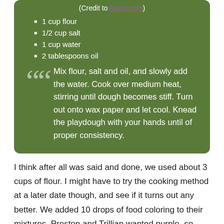(Credit to About.com)
1 cup flour
1/2 cup salt
1 cup water
2 tablespoons oil
Mix flour, salt and oil, and slowly add the water. Cook over medium heat, stirring until dough becomes stiff. Turn out onto wax paper and let cool. Knead the playdough with your hands until of proper consistency.
I think after all was said and done, we used about 3 cups of flour. I might have to try the cooking method at a later date though, and see if it turns out any better. We added 10 drops of food coloring to their mixtures. Preston and Trillian wanted purple, so they got 5 drops